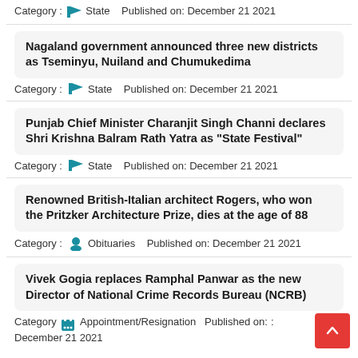Category : State   Published on: December 21 2021
Nagaland government announced three new districts as Tseminyu, Nuiland and Chumukedima
Category : State   Published on: December 21 2021
Punjab Chief Minister Charanjit Singh Channi declares Shri Krishna Balram Rath Yatra as "State Festival"
Category : State   Published on: December 21 2021
Renowned British-Italian architect Rogers, who won the Pritzker Architecture Prize, dies at the age of 88
Category : Obituaries   Published on: December 21 2021
Vivek Gogia replaces Ramphal Panwar as the new Director of National Crime Records Bureau (NCRB)
Category : Appointment/Resignation   Published on: December 21 2021